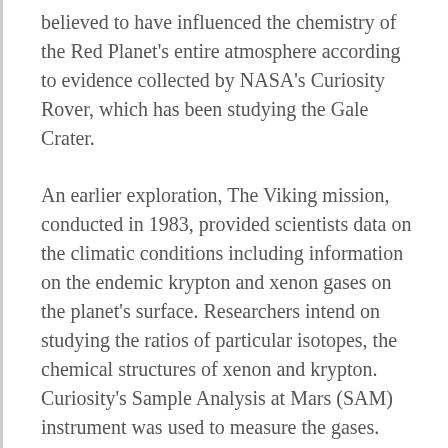believed to have influenced the chemistry of the Red Planet's entire atmosphere according to evidence collected by NASA's Curiosity Rover, which has been studying the Gale Crater.
An earlier exploration, The Viking mission, conducted in 1983, provided scientists data on the climatic conditions including information on the endemic krypton and xenon gases on the planet's surface. Researchers intend on studying the ratios of particular isotopes, the chemical structures of xenon and krypton. Curiosity's Sample Analysis at Mars (SAM) instrument was used to measure the gases.
"Previous knowledge of martian atmospheric krypton and xenon isotope ratios has been